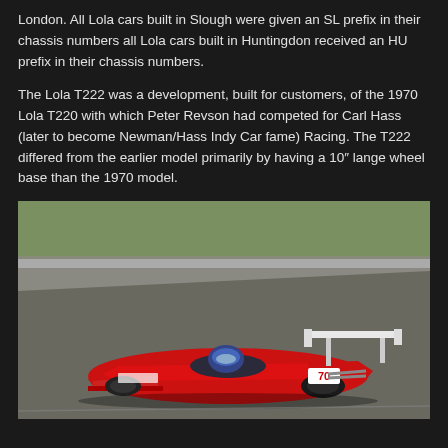London. All Lola cars built in Slough were given an SL prefix in their chassis numbers all Lola cars built in Huntingdon received an HU prefix in their chassis numbers.
The Lola T222 was a development, built for customers, of the 1970 Lola T220 with which Peter Revson had competed for Carl Hass (later to become Newman/Hass Indy Car fame) Racing. The T222 differed from the earlier model primarily by having a 10″ lange wheel base than the 1970 model.
[Figure (photo): A red Lola T222 race car with number 70, photographed on a race track. The car has a large rear wing and open cockpit with a driver in helmet. The background shows track tarmac and green grass.]